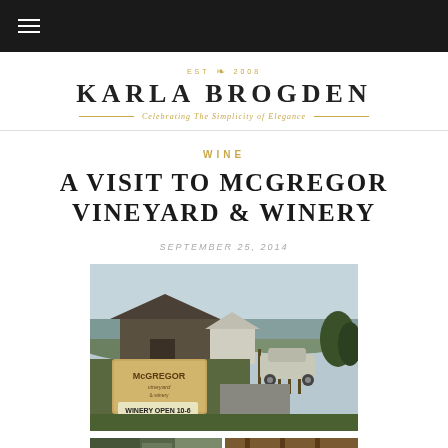Navigation bar with hamburger menu
KARLA BROGDEN — Celebrating The Simplicity of Elegance
WINE
A VISIT TO MCGREGOR VINEYARD & WINERY
SEPTEMBER 25, 2014
[Figure (photo): Outdoor sign for McGregor Vineyard & Winery reading 'WINERY OPEN 10-6', with a barn building, vineyard rows, a parked silver station wagon, trees, and a lake and hills in the background]
[Figure (photo): Bottom left partial photo showing exterior of building with green foliage]
[Figure (photo): Bottom right partial photo showing interior wooden detail]